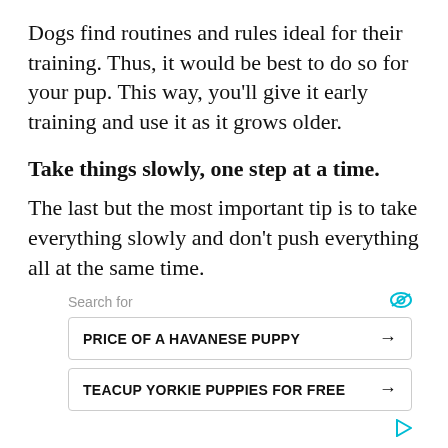Dogs find routines and rules ideal for their training. Thus, it would be best to do so for your pup. This way, you'll give it early training and use it as it grows older.
Take things slowly, one step at a time.
The last but the most important tip is to take everything slowly and don't push everything all at the same time.
[Figure (other): Advertisement search widget with 'Search for' label and two search rows: 'PRICE OF A HAVANESE PUPPY' and 'TEACUP YORKIE PUPPIES FOR FREE', each with an arrow button.]